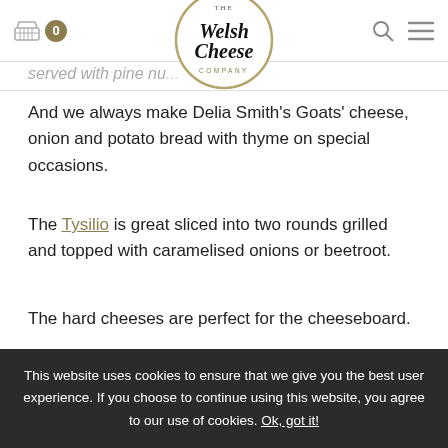The Welsh Cheese Company — navigation header with cart (0), logo, search and menu icons
served with pine nu...
And we always make Delia Smith's Goats' cheese, onion and potato bread with thyme on special occasions.
The Tysilio is great sliced into two rounds grilled and topped with caramelised onions or beetroot.
The hard cheeses are perfect for the cheeseboard.
What's next for Y Cwt Caws?
We are actively looking to get our cheeses in local
This website uses cookies to ensure that we give you the best user experience. If you choose to continue using this website, you agree to our use of cookies. Ok, got it!